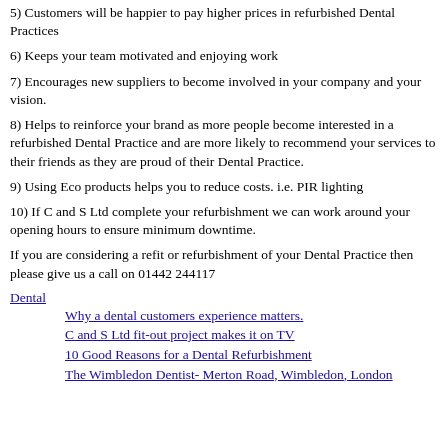5) Customers will be happier to pay higher prices in refurbished Dental Practices
6) Keeps your team motivated and enjoying work
7) Encourages new suppliers to become involved in your company and your vision.
8) Helps to reinforce your brand as more people become interested in a refurbished Dental Practice and are more likely to recommend your services to their friends as they are proud of their Dental Practice.
9) Using Eco products helps you to reduce costs. i.e. PIR lighting
10) If C and S Ltd complete your refurbishment we can work around your opening hours to ensure minimum downtime.
If you are considering a refit or refurbishment of your Dental Practice then please give us a call on 01442 244117
Dental
  Why a dental customers experience matters.
  C and S Ltd fit-out project makes it on TV
  10 Good Reasons for a Dental Refurbishment
  The Wimbledon Dentist- Merton Road, Wimbledon, London